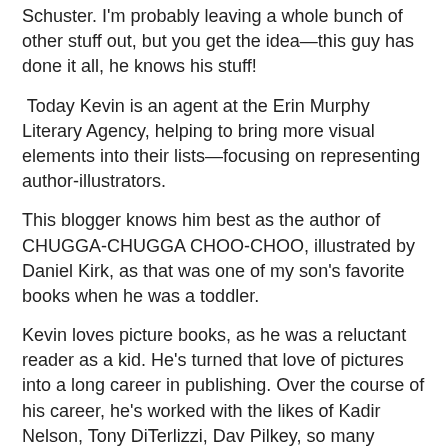Schuster. I'm probably leaving a whole bunch of other stuff out, but you get the idea—this guy has done it all, he knows his stuff!
Today Kevin is an agent at the Erin Murphy Literary Agency, helping to bring more visual elements into their lists—focusing on representing author-illustrators.
This blogger knows him best as the author of CHUGGA-CHUGGA CHOO-CHOO, illustrated by Daniel Kirk, as that was one of my son's favorite books when he was a toddler.
Kevin loves picture books, as he was a reluctant reader as a kid. He's turned that love of pictures into a long career in publishing. Over the course of his career, he's worked with the likes of Kadir Nelson, Tony DiTerlizzi, Dav Pilkey, so many others. He's always enjoyed working with illustrators to develop long careers.
In addition to young picture books, he enjoys helping to develop illustrated chapter book, avoid text heavy fiction and nonfiction. And if you are an author-illustrator of color, or from another under-represented community— Kevin's your